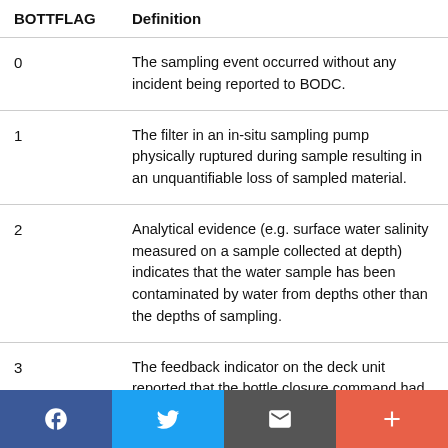| BOTTFLAG | Definition |
| --- | --- |
| 0 | The sampling event occurred without any incident being reported to BODC. |
| 1 | The filter in an in-situ sampling pump physically ruptured during sample resulting in an unquantifiable loss of sampled material. |
| 2 | Analytical evidence (e.g. surface water salinity measured on a sample collected at depth) indicates that the water sample has been contaminated by water from depths other than the depths of sampling. |
| 3 | The feedback indicator on the deck unit reported that the bottle closure command had |